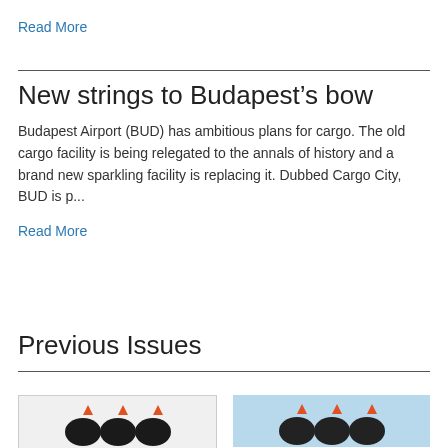Read More
New strings to Budapest’s bow
Budapest Airport (BUD) has ambitious plans for cargo. The old cargo facility is being relegated to the annals of history and a brand new sparkling facility is replacing it. Dubbed Cargo City, BUD is p...
Read More
Previous Issues
[Figure (photo): Thumbnail image on the left showing a dark logo/icon on light background]
[Figure (photo): Thumbnail image on the right showing a logo/icon on blue/sky background]